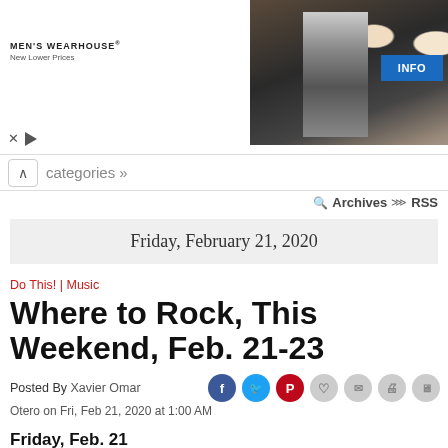[Figure (photo): Men's Wearhouse advertisement banner showing a couple in formal wear and a man in a suit, with an INFO button]
categories »
Archives RSS
Friday, February 21, 2020
Do This! | Music
Where to Rock, This Weekend, Feb. 21-23
Posted By Xavier Omar Otero on Fri, Feb 21, 2020 at 1:00 AM
Friday, Feb. 21